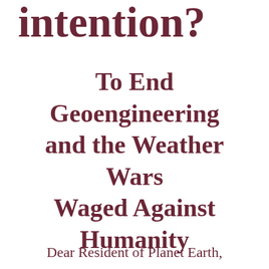intention?
To End Geoengineering and the Weather Wars Waged Against Humanity
Dear Resident of Planet Earth,